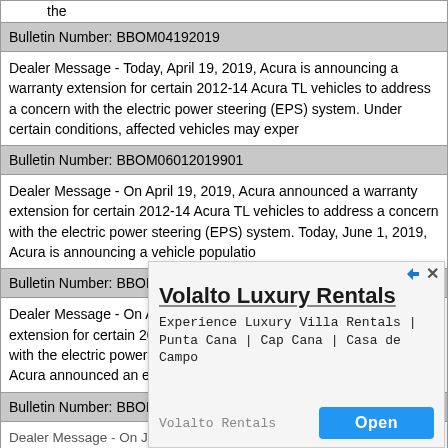the
| Bulletin Number: BBOM04192019 |
| Dealer Message - Today, April 19, 2019, Acura is announcing a warranty extension for certain 2012-14 Acura TL vehicles to address a concern with the electric power steering (EPS) system. Under certain conditions, affected vehicles may exper |
| Bulletin Number: BBOM06012019901 |
| Dealer Message - On April 19, 2019, Acura announced a warranty extension for certain 2012-14 Acura TL vehicles to address a concern with the electric power steering (EPS) system. Today, June 1, 2019, Acura is announcing a vehicle populatio |
| Bulletin Number: BBOM07112019 |
| Dealer Message - On April 19, 2019, Acura announced a warranty extension for certain 2012-14 Acura TL vehicles to address a concern with the electric power steering (EPS) system. On June 1, 2019, Acura announced an expansion to include cov |
| Bulletin Number: BBOM08312019 |
| Dealer Message - On January 16, 2019, Acura announced a warranty extension |
[Figure (other): Advertisement overlay for Volalto Luxury Rentals showing villa rental services in Punta Cana, Cap Cana, and Casa de Campo with an Open button.]